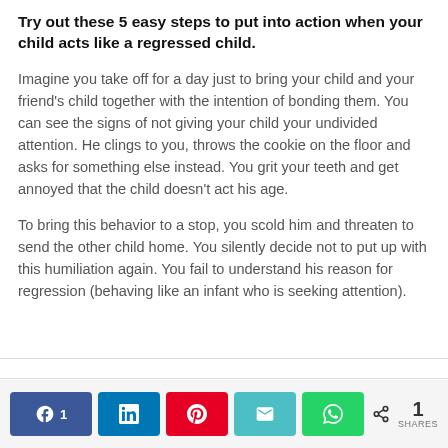Try out these 5 easy steps to put into action when your child acts like a regressed child.
Imagine you take off for a day just to bring your child and your friend's child together with the intention of bonding them. You can see the signs of not giving your child your undivided attention. He clings to you, throws the cookie on the floor and asks for something else instead. You grit your teeth and get annoyed that the child doesn't act his age.
To bring this behavior to a stop, you scold him and threaten to send the other child home. You silently decide not to put up with this humiliation again. You fail to understand his reason for regression (behaving like an infant who is seeking attention).